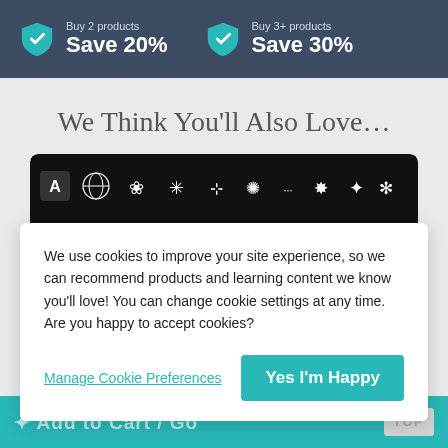Buy 2 products Save 20%
Buy 3+ products Save 30%
We Think You’ll Also Love…
[Figure (screenshot): A product image showing a dark/black toolbar strip with various sparkle and star icons in white, resembling a font or effects panel.]
We use cookies to improve your site experience, so we can recommend products and learning content we know you’ll love! You can change cookie settings at any time. Are you happy to accept cookies?
Manage Cookie Preferences
Yes I’m Happy